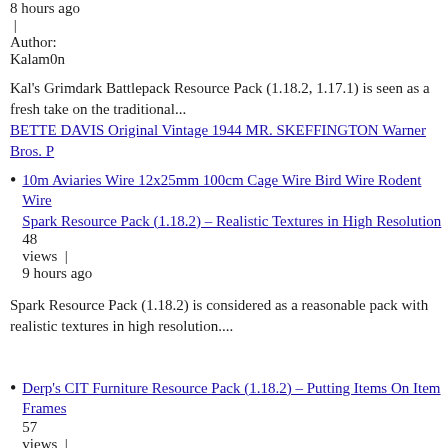8 hours ago
|
Author:
Kalam0n
Kal's Grimdark Battlepack Resource Pack (1.18.2, 1.17.1) is seen as a fresh take on the traditional...
BETTE DAVIS Original Vintage 1944 MR. SKEFFINGTON Warner Bros. P
10m Aviaries Wire 12x25mm 100cm Cage Wire Bird Wire Rodent Wire
Spark Resource Pack (1.18.2) – Realistic Textures in High Resolution
48
views |
9 hours ago
Spark Resource Pack (1.18.2) is considered as a reasonable pack with realistic textures in high resolution....
Derp's CIT Furniture Resource Pack (1.18.2) – Putting Items On Item Frames
57
views |
1 hour ago